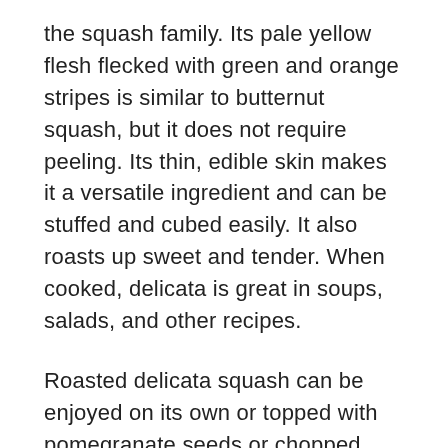the squash family. Its pale yellow flesh flecked with green and orange stripes is similar to butternut squash, but it does not require peeling. Its thin, edible skin makes it a versatile ingredient and can be stuffed and cubed easily. It also roasts up sweet and tender. When cooked, delicata is great in soups, salads, and other recipes.
Roasted delicata squash can be enjoyed on its own or topped with pomegranate seeds or chopped nuts. This sweet-savory squash pairs well with Thanksgiving dinner or other special occasions. For leftovers, store delicata squash in an air-tight container. Cut delicata squash up to three days in advance and toss with olive oil, salt, and pepper. If desired, add cinnamon to enhance the flavor and